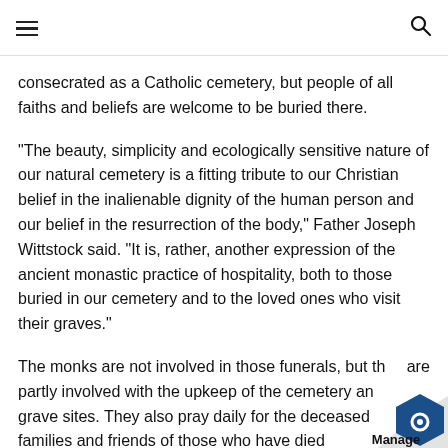≡  🔍
consecrated as a Catholic cemetery, but people of all faiths and beliefs are welcome to be buried there.
“The beauty, simplicity and ecologically sensitive nature of our natural cemetery is a fitting tribute to our Christian belief in the inalienable dignity of the human person and our belief in the resurrection of the body,” Father Joseph Wittstock said. “It is, rather, another expression of the ancient monastic practice of hospitality, both to those buried in our cemetery and to the loved ones who visit their graves.”
The monks are not involved in those funerals, but they are partly involved with the upkeep of the cemetery and grave sites. They also pray daily for the deceased and the families and friends of those who have died